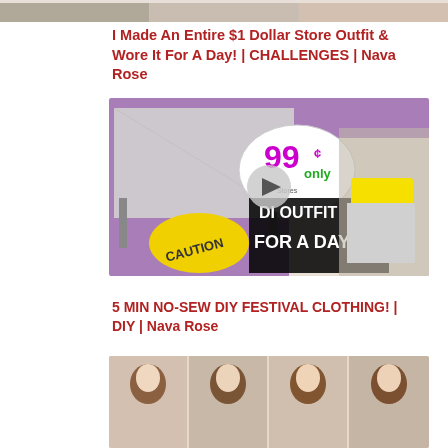[Figure (photo): Partial top strip showing cropped photos of people/shoes]
I Made An Entire $1 Dollar Store Outfit & Wore It For A Day! | CHALLENGES | Nava Rose
[Figure (photo): YouTube video thumbnail showing DIY outfit challenge with caution tape, 99¢ Only store logo, and woman in checkered outfit. Text overlay reads: DIY OUTFIT FOR A DAY!]
5 MIN NO-SEW DIY FESTIVAL CLOTHING! | DIY | Nava Rose
[Figure (photo): Partial thumbnail showing four poses of a young woman with long dark hair]